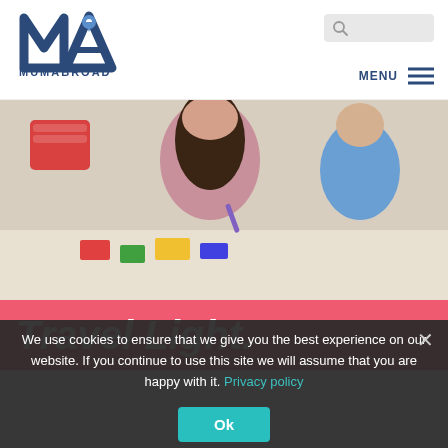[Figure (logo): MumAbroad logo with stylized M and location pin, blue color, with text MUMABROAD below]
[Figure (photo): Woman and child drawing/crafting together at a table, colorful art supplies visible, red basket in background]
Travel Light.
We use cookies to ensure that we give you the best experience on our website. If you continue to use this site we will assume that you are happy with it. Privacy policy
Ok